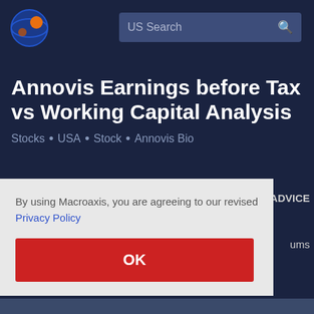[Figure (logo): Macroaxis globe logo with orange and blue colors]
US Search
Annovis Earnings before Tax vs Working Capital Analysis
Stocks . USA . Stock . Annovis Bio
By using Macroaxis, you are agreeing to our revised Privacy Policy
OK
ADVICE
ums